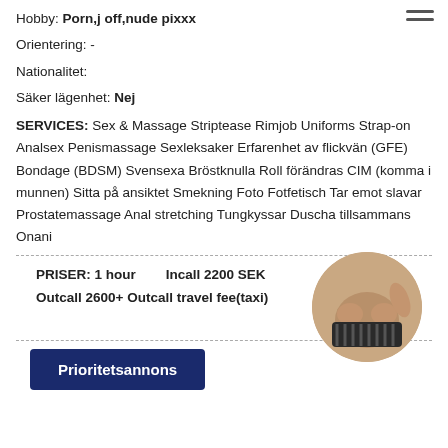Hobby: Porn,j off,nude pixxx
Orientering: -
Nationalitet:
Säker lägenhet: Nej
SERVICES: Sex & Massage Striptease Rimjob Uniforms Strap-on Analsex Penismassage Sexleksaker Erfarenhet av flickvän (GFE) Bondage (BDSM) Svensexa Bröstknulla Roll förändras CIM (komma i munnen) Sitta på ansiktet Smekning Foto Fotfetisch Tar emot slavar Prostatemassage Anal stretching Tungkyssar Duscha tillsammans Onani
PRISER: 1 hour   Incall 2200 SEK
Outcall 2600+ Outcall travel fee(taxi)
[Figure (photo): Circular cropped photo of a person]
Prioritetsannons